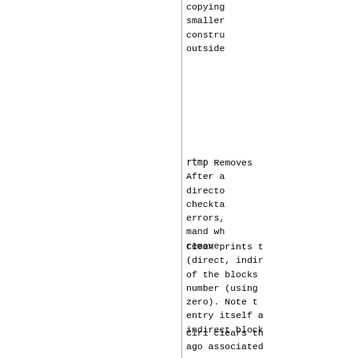copying smaller constru outside
rtmp    Removes After a directo checkta errors, mand wh remove
Clean prints t (direct, indir of the blocks number (using zero).  Note t entry itself a indirect block
Clri clears th ago associated